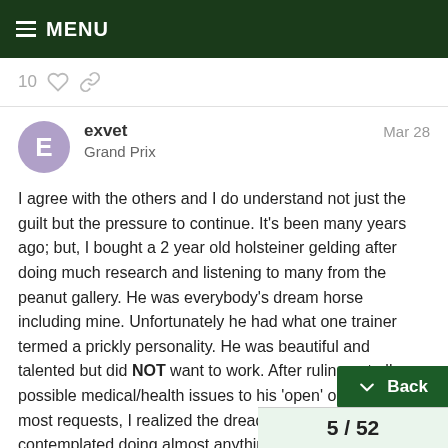≡ MENU
10 ♡ 🔗
exvet   Grand Prix   Mar 28
I agree with the others and I do understand not just the guilt but the pressure to continue. It's been many years ago; but, I bought a 2 year old holsteiner gelding after doing much research and listening to many from the peanut gallery. He was everybody's dream horse including mine. Unfortunately he had what one trainer termed a prickly personality. He was beautiful and talented but did NOT want to work. After ruling out all possible medical/health issues to his 'open' opinions to most requests, I realized the dread I had whenever I contemplated doing almost anything with him. Two things occurred back-to-back that made my decision despite all of my '... ing I give it more time (when I sold him I had o... The first was his picking up my farrier by t...
Back   5 / 52